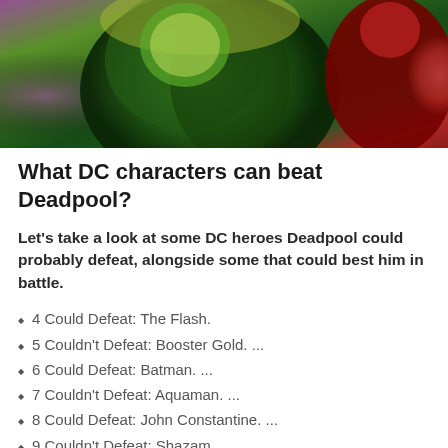[Figure (illustration): Comic book style illustration showing green and red superhero characters, likely DC and Marvel characters including Deadpool in red suit on right side]
What DC characters can beat Deadpool?
Let's take a look at some DC heroes Deadpool could probably defeat, alongside some that could best him in battle.
4 Could Defeat: The Flash.
5 Couldn't Defeat: Booster Gold. ...
6 Could Defeat: Batman. ...
7 Couldn't Defeat: Aquaman. ...
8 Could Defeat: John Constantine. ...
9 Couldn't Defeat: Shazam. ...
10 Could Defeat: Cyborg. ...